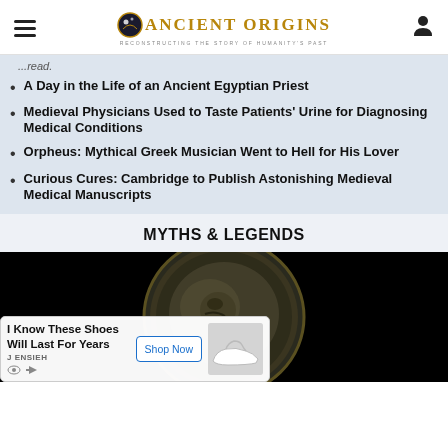Ancient Origins — Reconstructing the Story of Humanity's Past
A Day in the Life of an Ancient Egyptian Priest
Medieval Physicians Used to Taste Patients' Urine for Diagnosing Medical Conditions
Orpheus: Mythical Greek Musician Went to Hell for His Lover
Curious Cures: Cambridge to Publish Astonishing Medieval Medical Manuscripts
MYTHS & LEGENDS
[Figure (photo): Ancient coin photograph, dark background, part of Myths & Legends section with advertisement overlay for shoes.]